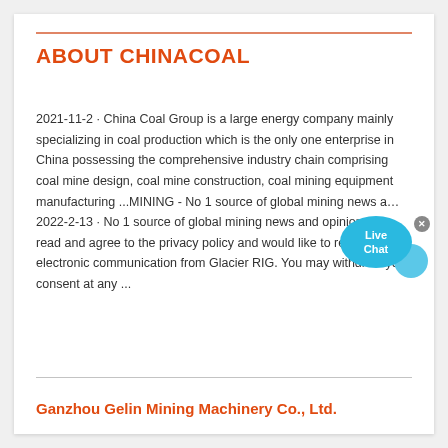ABOUT CHINACOAL
2021-11-2 · China Coal Group is a large energy company mainly specializing in coal production which is the only one enterprise in China possessing the comprehensive industry chain comprising coal mine design, coal mine construction, coal mining equipment manufacturing ...MINING - No 1 source of global mining news a… 2022-2-13 · No 1 source of global mining news and opinion. I h… read and agree to the privacy policy and would like to receive electronic communication from Glacier RIG. You may withdraw your consent at any ...
Ganzhou Gelin Mining Machinery Co., Ltd.